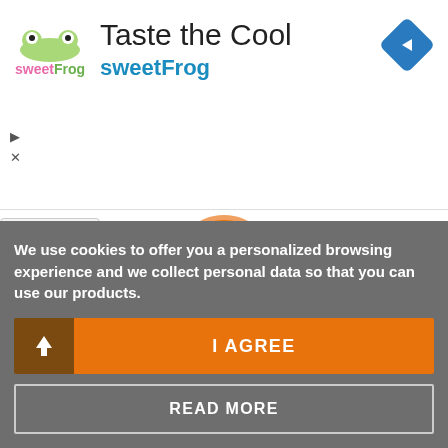[Figure (screenshot): SweetFrog advertisement banner with logo, 'Taste the Cool' headline, 'sweetFrog' subheading in teal, and a blue diamond navigation icon in top right corner]
[Figure (illustration): Orange circle with white question mark icon representing FAQ section]
FREQUENT QUESTIONS
Visit the Frequently Asked Questions section to find answers for the most popular questions we receive.
We use cookies to offer you a personalized browsing experience and we collect personal data so that you can use our products.
I AGREE
READ MORE